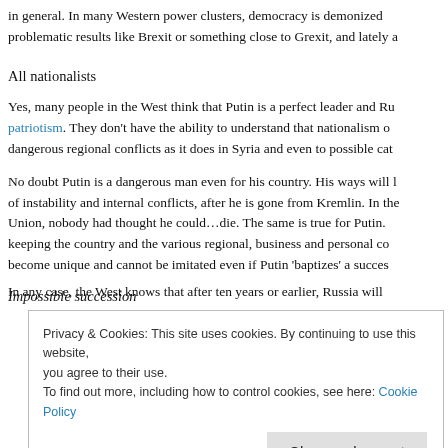in general. In many Western power clusters, democracy is demonized problematic results like Brexit or something close to Grexit, and lately a
All nationalists
Yes, many people in the West think that Putin is a perfect leader and Ru patriotism. They don't have the ability to understand that nationalism o dangerous regional conflicts as it does in Syria and even to possible cat
No doubt Putin is a dangerous man even for his country. His ways will l of instability and internal conflicts, after he is gone from Kremlin. In the Union, nobody had thought he could…die. The same is true for Putin. keeping the country and the various regional, business and personal co become unique and cannot be imitated even if Putin 'baptizes' a succes
Impossible succession
Privacy & Cookies: This site uses cookies. By continuing to use this website, you agree to their use.
To find out more, including how to control cookies, see here: Cookie Policy
In any case, the West knows that after ten years or earlier, Russia will